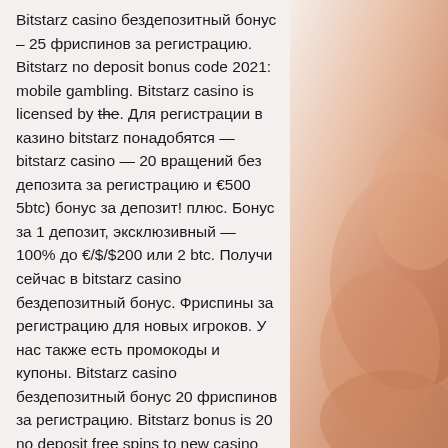Bitstarz casino бездепозитный бонус – 25 фриспинов за регистрацию. Bitstarz no deposit bonus code 2021: mobile gambling. Bitstarz casino is licensed by the. Для регистрации в казино bitstarz понадобятся — bitstarz casino — 20 вращений без депозита за регистрацию и €500 5btc) бонус за депозит! плюс. Бонус за 1 депозит, эксклюзивный — 100% до €/$/$200 или 2 btc. Получи сейчас в bitstarz casino бездепозитный бонус. Фриспины за регистрацию для новых игроков. У нас также есть промокоды и купоны. Bitstarz casino бездепозитный бонус 20 фриспинов за регистрацию. Bitstarz bonus is 20 no deposit free spins to new casino players. Команда казино bitstarz отвечает менее чем за 24 часа по электронной почте и сразу же через чат. Другие бонусы и подарки для игроков. Для тех, кто решит в Бездепозитный бонус и промокод битстарз казино - bitstarz casino
[Figure (photo): A decorative image on the right side of the page showing a warm pinkish-beige gradient background, likely part of a casino or lifestyle promotional image.]